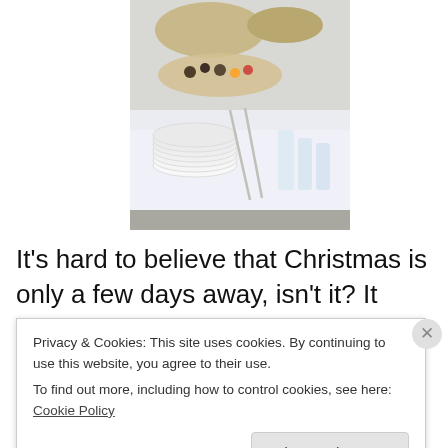[Figure (photo): A buffet table covered with a white tablecloth, showing stacked white plates, various food items and appetizers on platters, and drinking glasses arranged along the table.]
It's hard to believe that Christmas is only a few days away, isn't it? It sure does seem like the holidays seem to fly by
Privacy & Cookies: This site uses cookies. By continuing to use this website, you agree to their use.
To find out more, including how to control cookies, see here: Cookie Policy
[Close and accept]